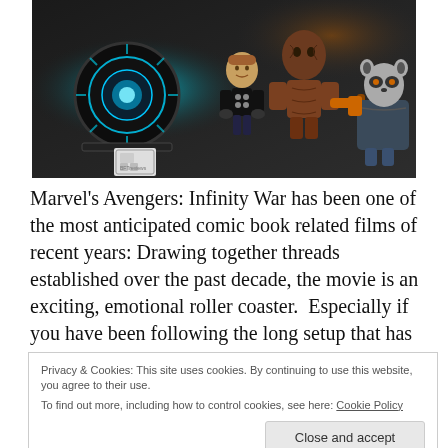[Figure (photo): Photograph of LEGO Marvel minifigures including Thor, Groot, and Rocket Raccoon arranged with a glowing blue device on a dark surface]
Marvel's Avengers: Infinity War has been one of the most anticipated comic book related films of recent years: Drawing together threads established over the past decade, the movie is an exciting, emotional roller coaster.  Especially if you have been following the long setup that has been put in
Privacy & Cookies: This site uses cookies. By continuing to use this website, you agree to their use.
To find out more, including how to control cookies, see here: Cookie Policy
will not actively give away any plot points, if i can